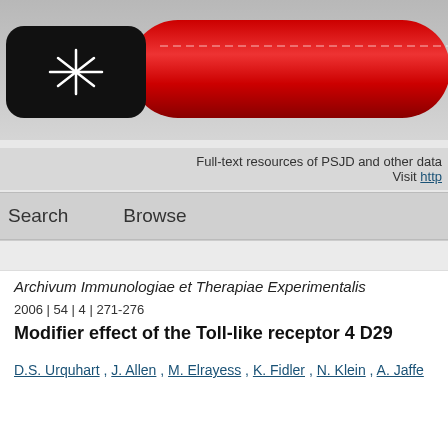[Figure (logo): White starburst/explosion logo on black rounded rectangle background, with red cylindrical bar extending to the right across the header]
Full-text resources of PSJD and other data
Visit http
Search   Browse
Archivum Immunologiae et Therapiae Experimentalis
2006 | 54 | 4 | 271-276
Modifier effect of the Toll-like receptor 4 D29...
D.S. Urquhart , J. Allen , M. Elrayess , K. Fidler , N. Klein , A. Jaffe